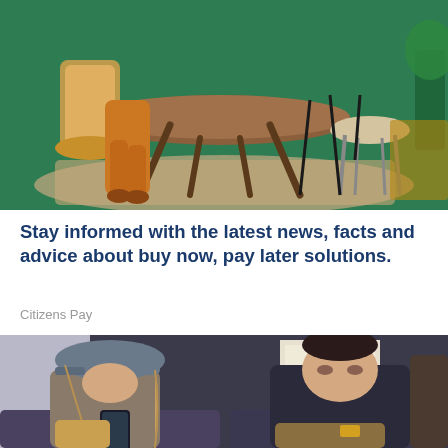[Figure (photo): Interior room scene with a person in orange clothing seated at a wooden table with chairs, stool, and plants on a green floor with a patterned rug]
Stay informed with the latest news, facts and advice about buy now, pay later solutions.
Citizens Pay
[Figure (photo): Two people sitting on public transit. A woman wearing a grey baseball cap looking at her phone, holding a bag, and a man in a dark jacket seated beside her.]